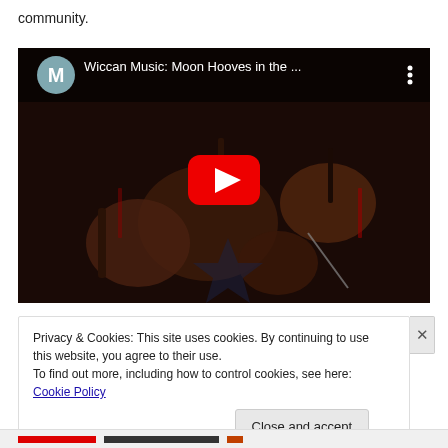community.
[Figure (screenshot): YouTube video thumbnail showing 'Wiccan Music: Moon Hooves in the ...' with a play button overlay. Thumbnail shows ritual items on a dark surface. Video player UI with channel icon 'M' and three-dot menu.]
Privacy & Cookies: This site uses cookies. By continuing to use this website, you agree to their use.
To find out more, including how to control cookies, see here: Cookie Policy
Close and accept